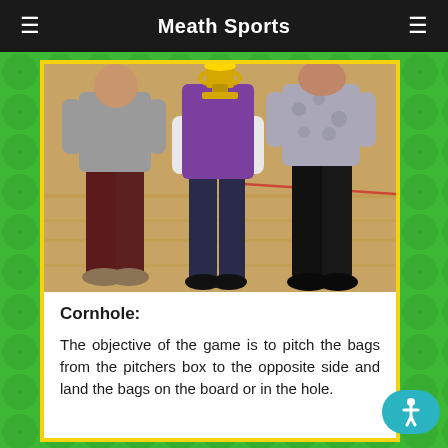Meath Sports
[Figure (photo): Three people standing on a gymnasium wooden floor, the center person holding a golden trophy cup. The person on the left wears a grey top and dark red trousers, the center person wears a purple vest over white top with dark trousers, and the person on the right wears a floral grey top with black trousers.]
Cornhole:
The objective of the game is to pitch the bags from the pitchers box to the opposite side and land the bags on the board or in the hole.